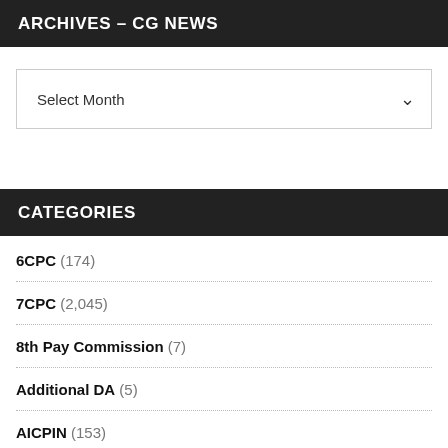ARCHIVES – CG NEWS
Select Month
CATEGORIES
6CPC (174)
7CPC (2,045)
8th Pay Commission (7)
Additional DA (5)
AICPIN (153)